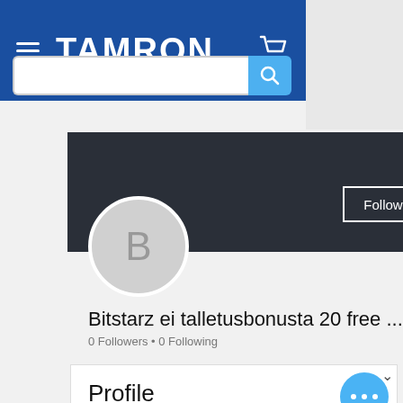[Figure (screenshot): Tamron website header with blue background, hamburger menu, TAMRON logo, cart icon, and search bar]
[Figure (screenshot): Social profile page with dark banner, avatar circle showing letter B, Follow button, three-dot menu]
Bitstarz ei talletusbonusta 20 free ...
0 Followers • 0 Following
Profile